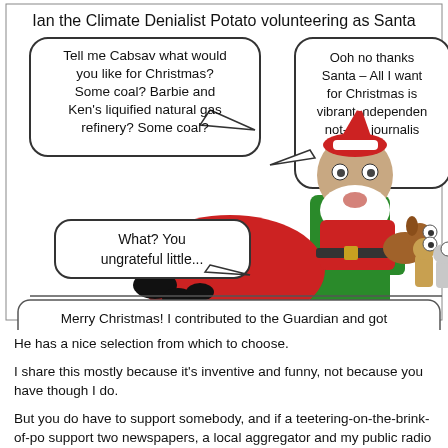[Figure (illustration): Webcomic panel titled 'Ian the Climate Denialist Potato volunteering as Santa'. Shows a potato dressed as Santa sitting in a green chair with a red sack of coal, talking to small dog-like creatures. Speech bubbles: Santa asks 'Tell me Cabsav what would you like for Christmas? Some coal? Barbie and Ken's liquified natural gas refinery? Some coal?' Child replies 'Ooh no thanks Santa – All I want for Christmas is vibrant independent not-shit journalism.' Santa reacts 'What? You ungrateful little...' Bottom caption bubble: 'Merry Christmas! I contributed to the Guardian and got you the gift of not-shit journalism. How nice of me.']
He has a nice selection from which to choose.
I share this mostly because it's inventive and funny, not because you have though I do.
But you do have to support somebody, and if a teetering-on-the-brink-of-po support two newspapers, a local aggregator and my public radio station.